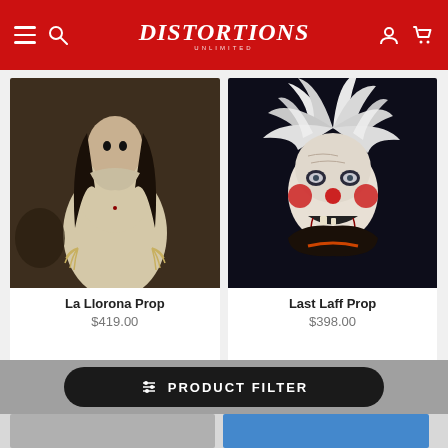Distortions — navigation header with hamburger menu, search, logo, account and cart icons
[Figure (photo): La Llorona Prop — a horror figure in white robes with clawed hands and dark hair, set against a dark background]
La Llorona Prop
$419.00
[Figure (photo): Last Laff Prop — a creepy clown figure with white wild hair, red cheeks, dark eyes and missing teeth, wearing dark coat]
Last Laff Prop
$398.00
PRODUCT FILTER